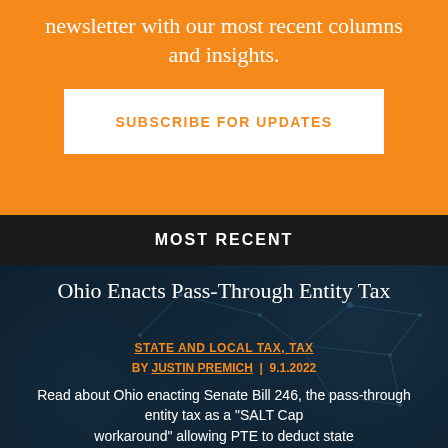newsletter with our most recent columns and insights.
SUBSCRIBE FOR UPDATES
MOST RECENT
Ohio Enacts Pass-Through Entity Tax
STATE AND LOCAL TAX, TAX BY JUSTIN PREMICH | 9.1.2022
Read about Ohio enacting Senate Bill 246, the pass-through entity tax as a "SALT Cap workaround" allowing PTE to deduct state